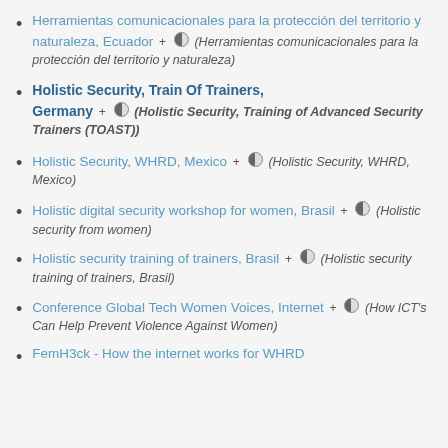Herramientas comunicacionales para la protección del territorio y naturaleza, Ecuador + (Herramientas comunicacionales para la protección del territorio y naturaleza)
Holistic Security, Train Of Trainers, Germany + (Holistic Security, Training of Advanced Security Trainers (TOAST))
Holistic Security, WHRD, Mexico + (Holistic Security, WHRD, Mexico)
Holistic digital security workshop for women, Brasil + (Holistic security from women)
Holistic security training of trainers, Brasil + (Holistic security training of trainers, Brasil)
Conference Global Tech Women Voices, Internet + (How ICT's Can Help Prevent Violence Against Women)
FemH3ck - How the internet works for WHRD